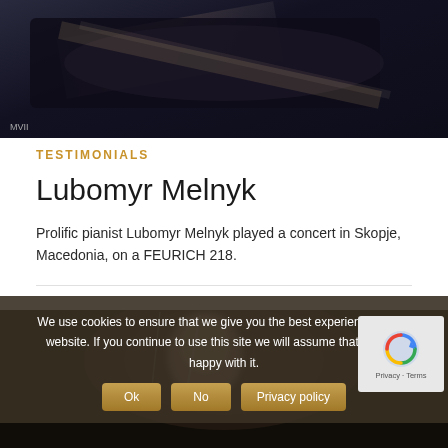[Figure (photo): Dark image of a grand piano or musical instrument with dark background and a subtle shine/reflection. Label 'MVII' at the bottom left.]
TESTIMONIALS
Lubomyr Melnyk
Prolific pianist Lubomyr Melnyk played a concert in Skopje, Macedonia, on a FEURICH 218.
[Figure (photo): Dark photo of an elderly man (Lubomyr Melnyk) with blurred face near a microphone, dark moody background.]
We use cookies to ensure that we give you the best experience on our website. If you continue to use this site we will assume that you are happy with it.